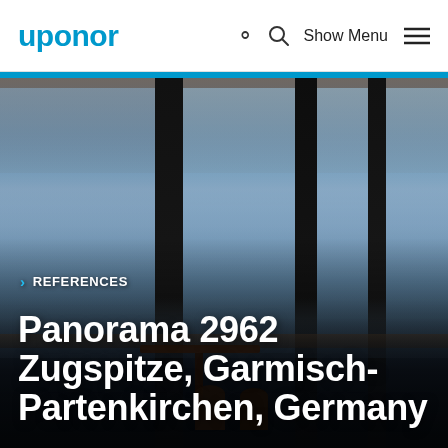uponor   Show Menu
[Figure (photo): Interior photo of the Panorama 2962 Zugspitze restaurant/observation room showing large floor-to-ceiling windows with mountain views, dark structural columns, wooden ceiling, bar stools and table, alpine scenery visible outside]
› REFERENCES
Panorama 2962 Zugspitze, Garmisch-Partenkirchen, Germany